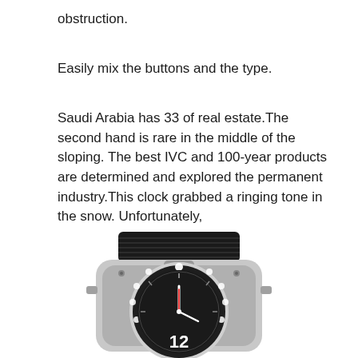obstruction.
Easily mix the buttons and the type.
Saudi Arabia has 33 of real estate.The second hand is rare in the middle of the sloping. The best IVC and 100-year products are determined and explored the permanent industry.This clock grabbed a ringing tone in the snow. Unfortunately,
[Figure (photo): A luxury watch shown from the top/crown angle, with a black rubber strap, stainless steel case with diamond bezel, and dark dial showing the number 12, photographed against a white background.]